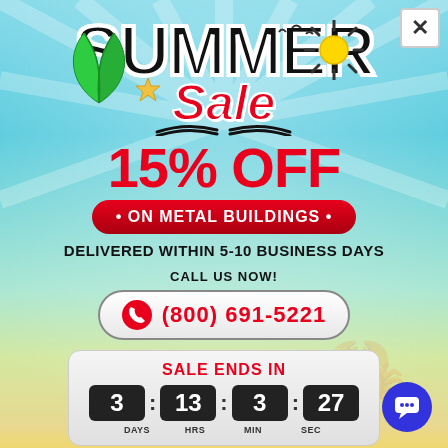[Figure (infographic): Summer Sale promotional popup with sky/beach gradient background, sun rays, tropical leaf, summer sale logo]
SUMMER Sale
15% OFF
• ON METAL BUILDINGS •
DELIVERED WITHIN 5-10 BUSINESS DAYS
CALL US NOW!
(800) 691-5221
SALE ENDS IN
3 : 13 : 3 : 27
DAYS  HRS  MIN  SEC
*Offer Valid in the Limited States Only*